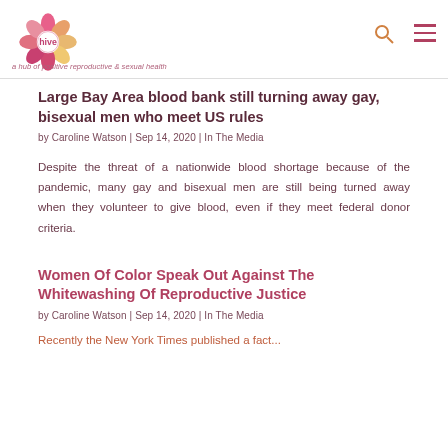hive – a hub of positive reproductive & sexual health
Large Bay Area blood bank still turning away gay, bisexual men who meet US rules
by Caroline Watson | Sep 14, 2020 | In The Media
Despite the threat of a nationwide blood shortage because of the pandemic, many gay and bisexual men are still being turned away when they volunteer to give blood, even if they meet federal donor criteria.
Women Of Color Speak Out Against The Whitewashing Of Reproductive Justice
by Caroline Watson | Sep 14, 2020 | In The Media
Recently the New York Times published a fact...